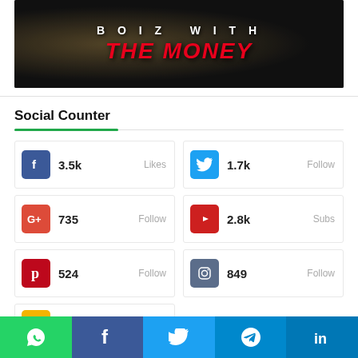[Figure (illustration): Banner image with dark background showing 'BOIZ WITH THE MONEY' text - 'BOIZ WITH' in white, 'THE MONEY' in bold red italic]
Social Counter
| Icon | Count | Action |
| --- | --- | --- |
| Facebook | 3.5k | Likes |
| Twitter | 1.7k | Follow |
| Google+ | 735 | Follow |
| YouTube | 2.8k | Subs |
| Pinterest | 524 | Follow |
| Instagram | 849 | Follow |
| RSS | 286 | Subs |
WhatsApp | Facebook | Twitter | Telegram | LinkedIn